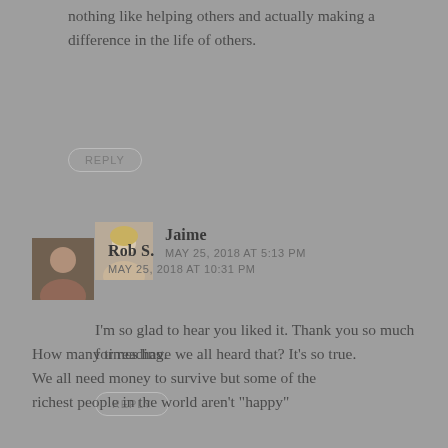nothing like helping others and actually making a difference in the life of others.
REPLY
JAIME
MAY 25, 2018 AT 5:13 PM
I’m so glad to hear you liked it. Thank you so much for reading.
REPLY
ROB S.
MAY 25, 2018 AT 10:31 PM
How many times have we all heard that? It’s so true.
We all need money to survive but some of the richest people in the world aren’t “happy”